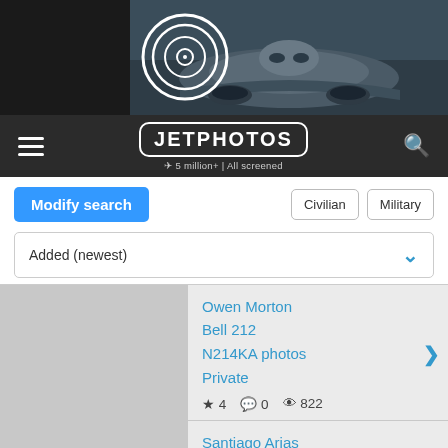[Figure (screenshot): JetPhotos website banner with airplane photo and logo]
JETPHOTOS — 5 million+ | All screened
Modify search | Civilian | Military
Added (newest)
Owen Morton
Bell 212
N214KA photos
Private
★ 4  💬 0  👁 822
Santiago Arias
Bell 212
C-GBVR photos
Valhalla Helicopters
★ 3  💬 0  👁 (partial)